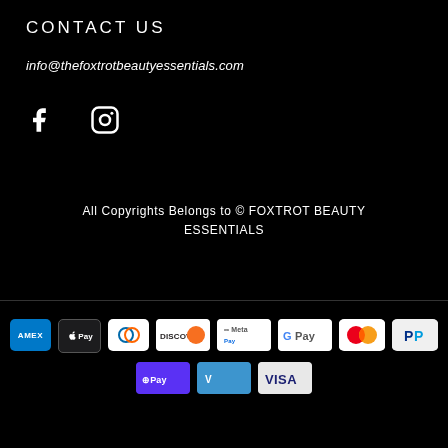CONTACT US
info@thefoxtrotbeautyessentials.com
[Figure (illustration): Facebook and Instagram social media icons in white on black background]
All Copyrights Belongs to © FOXTROT BEAUTY ESSENTIALS
[Figure (illustration): Payment method icons: American Express, Apple Pay, Diners Club, Discover, Meta Pay, Google Pay, Mastercard, PayPal (top row); Shop Pay, Venmo, Visa (bottom row)]